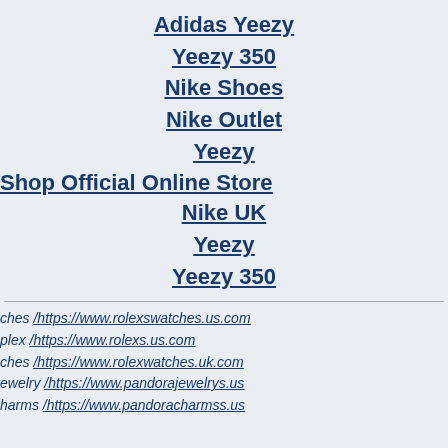Adidas Yeezy
Yeezy 350
Nike Shoes
Nike Outlet
Yeezy
Shop Official Online Store
Nike UK
Yeezy
Yeezy 350
ches /https://www.rolexswatches.us.com
plex /https://www.rolexs.us.com
ches /https://www.rolexwatches.uk.com
ewelry /https://www.pandorajewelrys.us
harms /https://www.pandoracharmss.us